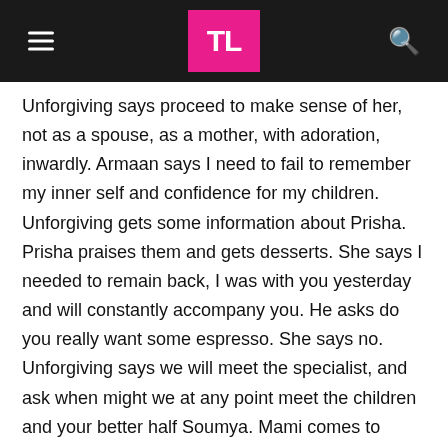TL
Unforgiving says proceed to make sense of her, not as a spouse, as a mother, with adoration, inwardly. Armaan says I need to fail to remember my inner self and confidence for my children. Unforgiving gets some information about Prisha. Prisha praises them and gets desserts. She says I needed to remain back, I was with you yesterday and will constantly accompany you. He asks do you really want some espresso. She says no. Unforgiving says we will meet the specialist, and ask when might we at any point meet the children and your better half Soumya. Mami comes to Prisha and says a man changes when he becomes a dad. Prisha says I won't let this end. She goes to meet Soumya. She says we are near one another, we remembered to design a shock, could I at any point meet her. Nurture says no. Prisha pays her and says I will simply take 5 mins.